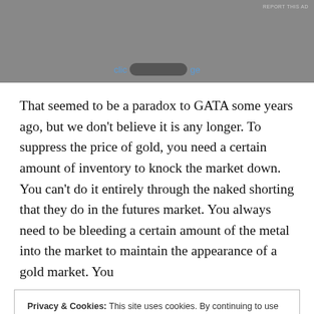[Figure (other): Advertisement banner with gray background, 'REPORT THIS AD' label, and a partially obscured ad link at the bottom]
That seemed to be a paradox to GATA some years ago, but we don't believe it is any longer. To suppress the price of gold, you need a certain amount of inventory to knock the market down. You can't do it entirely through the naked shorting that they do in the futures market. You always need to be bleeding a certain amount of the metal into the market to maintain the appearance of a gold market. You
Privacy & Cookies: This site uses cookies. By continuing to use this website, you agree to their use.
To find out more, including how to control cookies, see here: Cookie Policy
Close and accept
hypothesized that the policy in recent years has been to